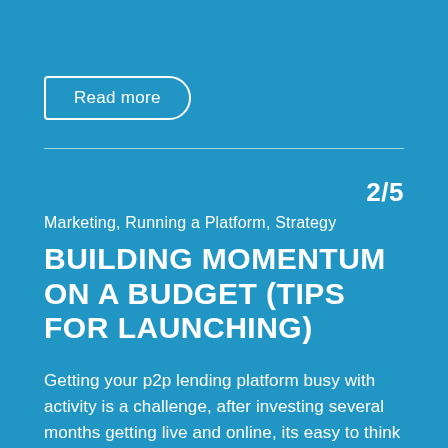Read more
2/5
Marketing, Running a Platform, Strategy
BUILDING MOMENTUM ON A BUDGET (TIPS FOR LAUNCHING)
Getting your p2p lending platform busy with activity is a challenge, after investing several months getting live and online, its easy to think that visitors will beat a path to your registration page. Build it & they will come… after some gentle persuasion We have various international